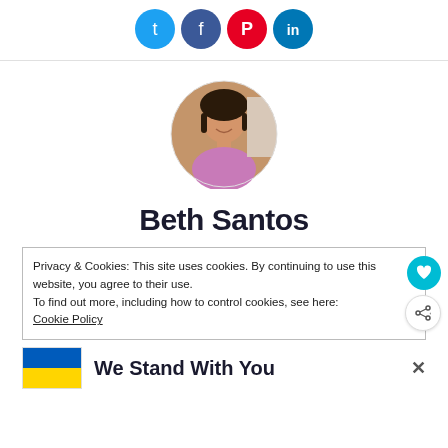[Figure (illustration): Four social media icon circles in blue (Twitter), dark blue (Facebook), red (Pinterest), and teal (LinkedIn) arranged horizontally at the top of the page.]
[Figure (photo): Circular profile photo of Beth Santos, a woman with dark hair wearing a purple/pink top, smiling, set against a light background.]
Beth Santos
Privacy & Cookies: This site uses cookies. By continuing to use this website, you agree to their use. To find out more, including how to control cookies, see here: Cookie Policy
We Stand With You